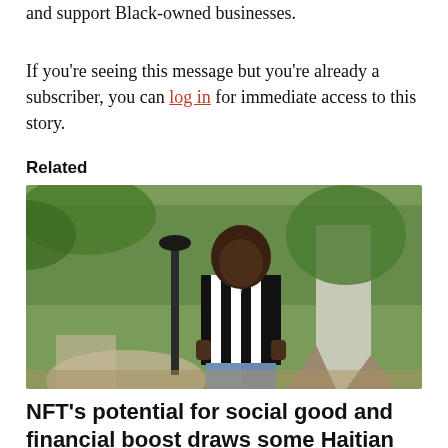and support Black-owned businesses.
If you’re seeing this message but you’re already a subscriber, you can log in for immediate access to this story.
Related
[Figure (photo): A man in a black and white striped shirt standing in a park with trees in the background]
NFT’s potential for social good and financial boost draws some Haitian artists